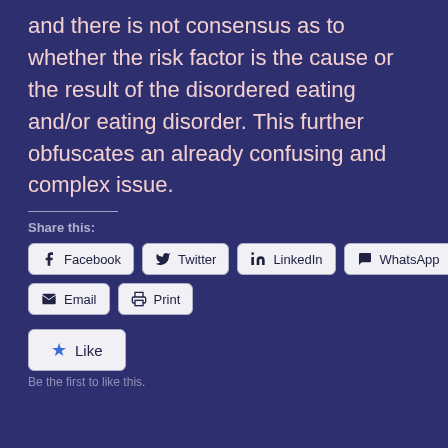and there is not consensus as to whether the risk factor is the cause or the result of the disordered eating and/or eating disorder. This further obfuscates an already confusing and complex issue.
Share this:
Facebook | Twitter | LinkedIn | WhatsApp | Email | Print
Like
Be the first to like this.